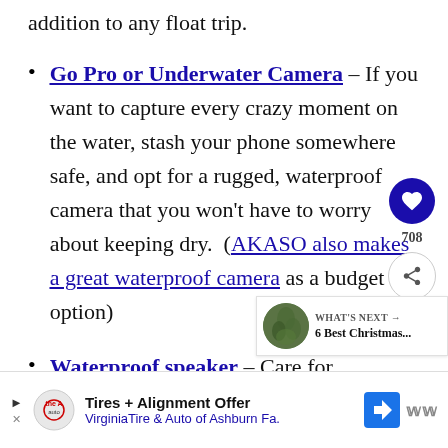addition to any float trip.
Go Pro or Underwater Camera – If you want to capture every crazy moment on the water, stash your phone somewhere safe, and opt for a rugged, waterproof camera that you won't have to worry about keeping dry.  (AKASO also makes a great waterproof camera as a budget option)
Waterproof speaker – Care for tunes with your river adventure? Bring
WHAT'S NEXT → 6 Best Christmas...
Tires + Alignment Offer VirginiaTire & Auto of Ashburn Fa.